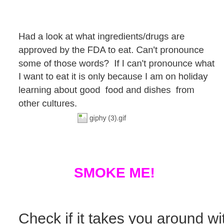Had a look at what ingredients/drugs are approved by the FDA to eat. Can't pronounce some of those words?  If I can't pronounce what I want to eat it is only because I am on holiday learning about good  food and dishes  from other cultures.
[Figure (other): Broken image placeholder labeled 'giphy (3).gif']
SMOKE ME!
Check if it takes you around with